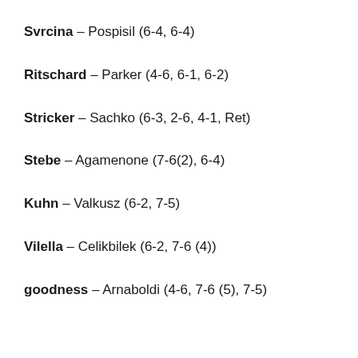Svrcina – Pospisil (6-4, 6-4)
Ritschard – Parker (4-6, 6-1, 6-2)
Stricker – Sachko (6-3, 2-6, 4-1, Ret)
Stebe – Agamenone (7-6(2), 6-4)
Kuhn – Valkusz (6-2, 7-5)
Vilella – Celikbilek (6-2, 7-6 (4))
goodness – Arnaboldi (4-6, 7-6 (5), 7-5)